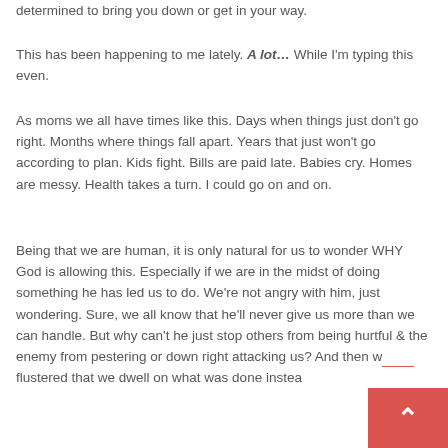determined to bring you down or get in your way.
This has been happening to me lately. A lot… While I'm typing this even.
As moms we all have times like this. Days when things just don't go right. Months where things fall apart. Years that just won't go according to plan. Kids fight. Bills are paid late. Babies cry. Homes are messy. Health takes a turn. I could go on and on.
Being that we are human, it is only natural for us to wonder WHY God is allowing this. Especially if we are in the midst of doing something he has led us to do. We're not angry with him, just wondering. Sure, we all know that he'll never give us more than we can handle. But why can't he just stop others from being hurtful & the enemy from pestering or down right attacking us? And then we flustered that we dwell on what was done instead